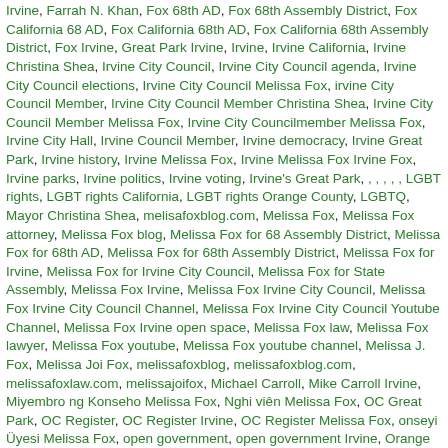Irvine, Farrah N. Khan, Fox 68th AD, Fox 68th Assembly District, Fox California 68 AD, Fox California 68th AD, Fox California 68th Assembly District, Fox Irvine, Great Park Irvine, Irvine, Irvine California, Irvine Christina Shea, Irvine City Council, Irvine City Council agenda, Irvine City Council elections, Irvine City Council Melissa Fox, irvine City Council Member, Irvine City Council Member Christina Shea, Irvine City Council Member Melissa Fox, Irvine City Councilmember Melissa Fox, Irvine City Hall, Irvine Council Member, Irvine democracy, Irvine Great Park, Irvine history, Irvine Melissa Fox, Irvine Melissa Fox Irvine Fox, Irvine parks, Irvine politics, Irvine voting, Irvine's Great Park, [redacted], LGBT rights, LGBT rights California, LGBT rights Orange County, LGBTQ, Mayor Christina Shea, melisafoxblog.com, Melissa Fox, Melissa Fox attorney, Melissa Fox blog, Melissa Fox for 68 Assembly District, Melissa Fox for 68th AD, Melissa Fox for 68th Assembly District, Melissa Fox for Irvine, Melissa Fox for Irvine City Council, Melissa Fox for State Assembly, Melissa Fox Irvine, Melissa Fox Irvine City Council, Melissa Fox Irvine City Council Channel, Melissa Fox Irvine City Council Youtube Channel, Melissa Fox Irvine open space, Melissa Fox law, Melissa Fox lawyer, Melissa Fox youtube, Melissa Fox youtube channel, Melissa J. Fox, Melissa Joi Fox, melissafoxblog, melissafoxblog.com, melissafoxlaw.com, melissajoifox, Michael Carroll, Mike Carroll Irvine, Miyembro ng Konseho Melissa Fox, Nghi viên Melissa Fox, OC Great Park, OC Register, OC Register Irvine, OC Register Melissa Fox, onseyi Üyesi Melissa Fox, open government, open government Irvine, Orange Country Register Melissa Fox, Orange County, Orange County Great Park, Orange County Great Park Vice Chair Melissa Fox, Orange County Register, Orange County Register Irvine, Pride, Pride Flag, Pride Flag Irvine, Republicans in Irvine, Sunshine Ordinance, عضو في المجلس ميليسا فوكس, votemelissafox, votemelissafox.com, womens rights, [redacted], Melissa Fox